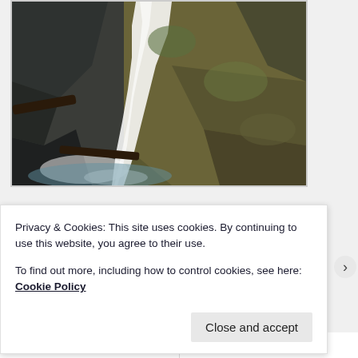[Figure (photo): A waterfall cascading down rocky terrain with moss-covered rocks and dry grass/vegetation on the right side. The water is white and flowing, with fallen logs visible at the bottom.]
[Figure (photo): Two partial images at the bottom: left shows a light peachy/cream background image, right shows hands typing on a laptop keyboard.]
Privacy & Cookies: This site uses cookies. By continuing to use this website, you agree to their use.
To find out more, including how to control cookies, see here: Cookie Policy
Close and accept